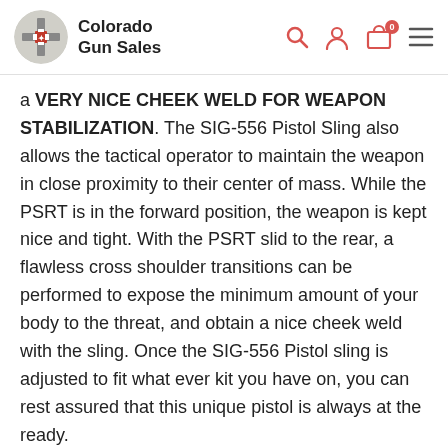Colorado Gun Sales
a VERY NICE CHEEK WELD FOR WEAPON STABILIZATION. The SIG-556 Pistol Sling also allows the tactical operator to maintain the weapon in close proximity to their center of mass. While the PSRT is in the forward position, the weapon is kept nice and tight. With the PSRT slid to the rear, a flawless cross shoulder transitions can be performed to expose the minimum amount of your body to the threat, and obtain a nice cheek weld with the sling. Once the SIG-556 Pistol sling is adjusted to fit what ever kit you have on, you can rest assured that this unique pistol is always at the ready.